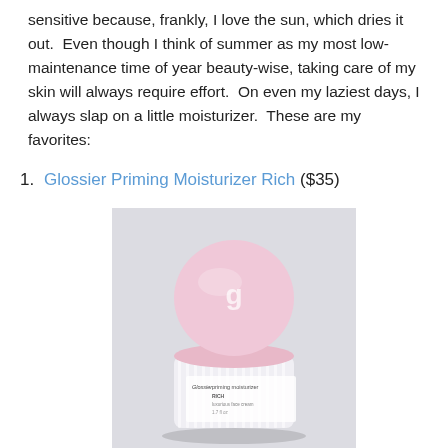sensitive because, frankly, I love the sun, which dries it out. Even though I think of summer as my most low-maintenance time of year beauty-wise, taking care of my skin will always require effort. On even my laziest days, I always slap on a little moisturizer. These are my favorites:
1. Glossier Priming Moisturizer Rich ($35)
[Figure (photo): A jar of Glossier Priming Moisturizer Rich with a pink lid, showing the label 'Glossier. priming moisturizer RICH luxurious face cream 1.7 fl oz' on a light gray background.]